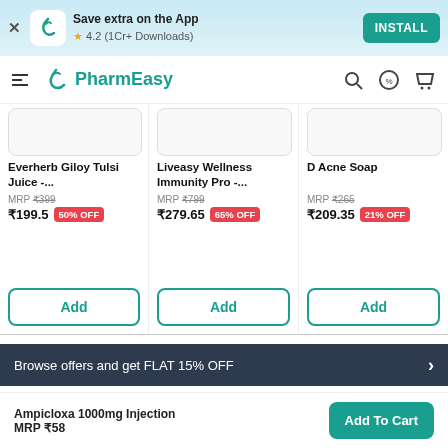[Figure (screenshot): App install banner with PharmEasy logo, 'Save extra on the App', rating 4.2 (1Cr+ Downloads), and INSTALL button]
[Figure (screenshot): PharmEasy navigation bar with hamburger menu, logo, search, offer, and cart icons]
Everherb Giloy Tulsi Juice -...
MRP ₹399
₹199.5 50% OFF
Liveasy Wellness Immunity Pro -...
MRP ₹799
₹279.65 65% OFF
D Acne Soap
MRP ₹265
₹209.35 21% OFF
Browse offers and get FLAT 15% OFF
Ampicloxa 1000mg Injection
MRP ₹58